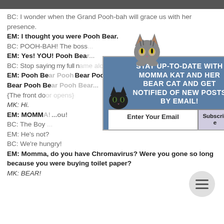[Figure (illustration): Dark gray top bar/image strip at top of page]
BC: I wonder when the Grand Pooh-bah will grace us with her presence.
EM: I thought you were Pooh Bear.
BC: POOH-BAH! The boss [partially obscured by popup]
EM: Yes! YOU! Pooh Bea[r] [partially obscured]
BC: Stop saying my full [name aloud!] [partially obscured]
EM: Pooh Be[ar Pooh Bear Pooh Bear Pooh Bear Pooh Be] [partially obscured]
{The front do[or opens] [partially obscured]
MK: Hi.
EM: MOMM[A!] [partially obscured] ou!
BC: The Boy [partially obscured]
EM: He's not?
BC: We're hungry!
EM: Momma, do you have Chromavirus? Were you gone so long because you were buying toilet paper?
MK: BEAR!
[Figure (illustration): Email subscription popup overlay with cat illustrations. Title: STAY UP-TO-DATE WITH MOMMA KAT AND HER BEAR CAT AND GET NOTIFIED OF NEW POSTS BY EMAIL! Email input field and Subscribe button. Gray tabby cat peeking from top, black cat on lower left.]